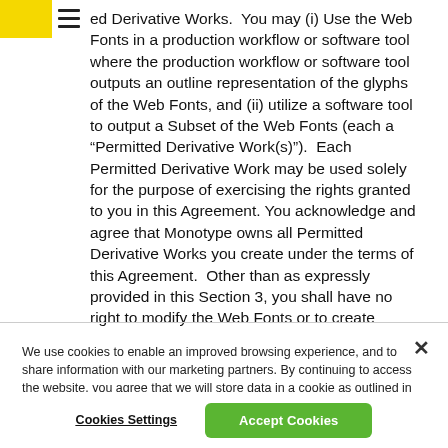ed Derivative Works.  You may (i) Use the Web Fonts in a production workflow or software tool where the production workflow or software tool outputs an outline representation of the glyphs of the Web Fonts, and (ii) utilize a software tool to output a Subset of the Web Fonts (each a “Permitted Derivative Work(s)”).  Each Permitted Derivative Work may be used solely for the purpose of exercising the rights granted to you in this Agreement. You acknowledge and agree that Monotype owns all Permitted Derivative Works you create under the terms of this Agreement.  Other than as expressly provided in this Section 3, you shall have no right to modify the Web Fonts or to create Derivative Works.
We use cookies to enable an improved browsing experience, and to share information with our marketing partners. By continuing to access the website, you agree that we will store data in a cookie as outlined in our    Privacy Policy.
Cookies Settings
Accept Cookies